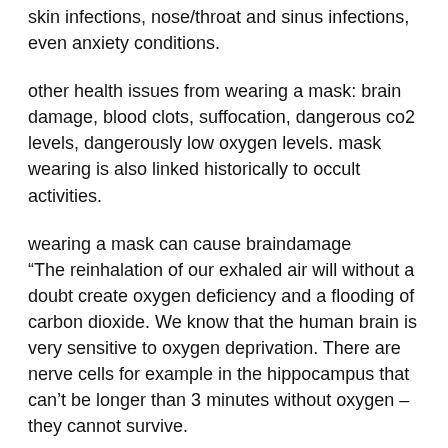skin infections, nose/throat and sinus infections, even anxiety conditions.
other health issues from wearing a mask: brain damage, blood clots, suffocation, dangerous co2 levels, dangerously low oxygen levels. mask wearing is also linked historically to occult activities.
wearing a mask can cause braindamage
“The reinhalation of our exhaled air will without a doubt create oxygen deficiency and a flooding of carbon dioxide. We know that the human brain is very sensitive to oxygen deprivation. There are nerve cells for example in the hippocampus that can’t be longer than 3 minutes without oxygen – they cannot survive.